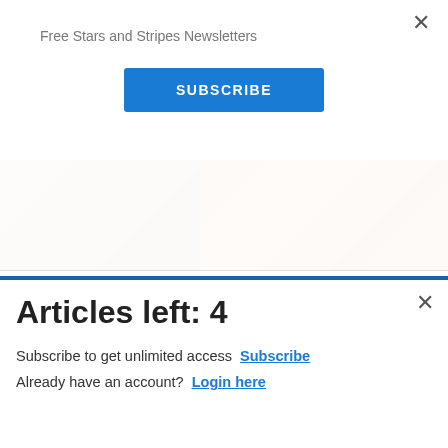Free Stars and Stripes Newsletters
SUBSCRIBE
[Figure (photo): Food image showing belly/torso on left and spices/seasoning on right]
Just 1 Teaspoon Burns Belly Fat Like Crazy!
🔥 5,672
[Figure (screenshot): Commissary Click2Go advertisement banner with logo and commissary badge]
Articles left: 4
Subscribe to get unlimited access  Subscribe
Already have an account?  Login here